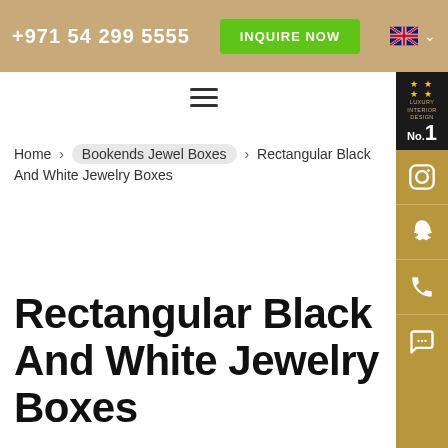+971 54 299 5555 | INQUIRE NOW
[Figure (screenshot): Right sidebar with luxury interior design No.1 badge and social media icons (Instagram, Snapchat, phone, chat)]
☰ (hamburger menu icon)
Home › Bookends Jewel Boxes › Rectangular Black And White Jewelry Boxes
Rectangular Black And White Jewelry Boxes